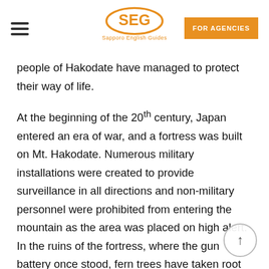SEG Sapporo English Guides | FOR AGENCIES
people of Hakodate have managed to protect their way of life.
At the beginning of the 20th century, Japan entered an era of war, and a fortress was built on Mt. Hakodate. Numerous military installations were created to provide surveillance in all directions and non-military personnel were prohibited from entering the mountain as the area was placed on high alert. In the ruins of the fortress, where the gun battery once stood, fern trees have taken root and are lifting the half-destroyed brick wall. It is said that the dead flowers that hang on the branches of panicled hydrangea and bright red pepper-like berries on the shrubs could make for emergency rations on the